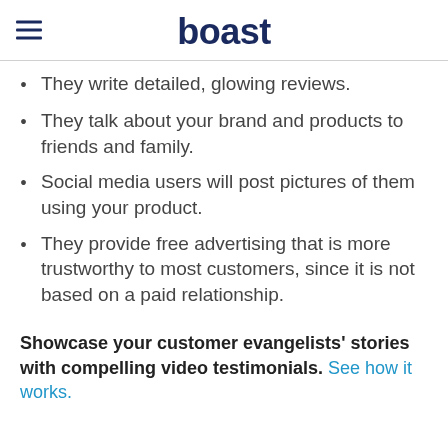boast
They write detailed, glowing reviews.
They talk about your brand and products to friends and family.
Social media users will post pictures of them using your product.
They provide free advertising that is more trustworthy to most customers, since it is not based on a paid relationship.
Showcase your customer evangelists' stories with compelling video testimonials. See how it works.